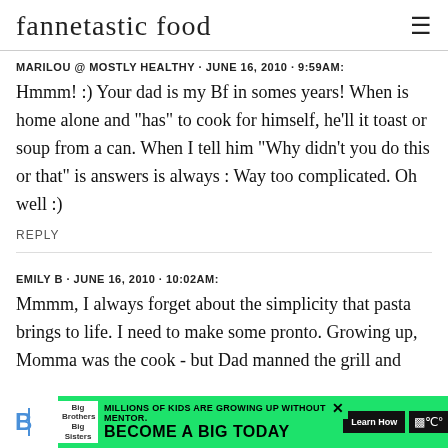fannetastic food
MARILOU @ MOSTLY HEALTHY · JUNE 16, 2010 · 9:59AM:
Hmmm! :) Your dad is my Bf in somes years! When is home alone and "has" to cook for himself, he'll it toast or soup from a can. When I tell him "Why didn't you do this or that" is answers is always : Way too complicated. Oh well :)
REPLY
EMILY B · JUNE 16, 2010 · 10:02AM:
Mmmm, I always forget about the simplicity that pasta brings to life. I need to make some pronto. Growing up, Momma was the cook - but Dad manned the grill and
[Figure (infographic): Big Brothers Big Sisters advertisement banner: green background with logo, text 'MILLIONS OF KIDS ARE GROWING UP WITHOUT A MENTOR. BECOME A BIG TODAY' and 'Learn How' CTA button]